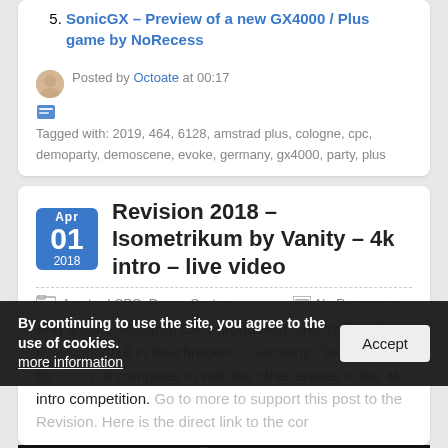5. SonicGX – Preview of a new GX4000 / Plus game by NoRecess
Posted by Octoate at 00:17
Tagged with: 2019, 464, 6128, amstrad plus, cologne, cpc, demoparty, demoscene, evoke, germany, gx4000, party, plus
Revision 2018 – Isometrikum by Vanity – 4k intro – live video
Amstrad CPC, Demo, System
No Responses »
And another Amstrad CPC production directly from the Revision 2018 in Saarbrücken / Germany: "Isometrikum" by Vanity. It competes in with the other entries in the 4k intro competition. Go to more to see/to support this post to the Revision. Here is the direct link to the cor…
By continuing to use the site, you agree to the use of cookies.
more information
Accept
[Figure (photo): Video thumbnail, dark background with partial face visible]